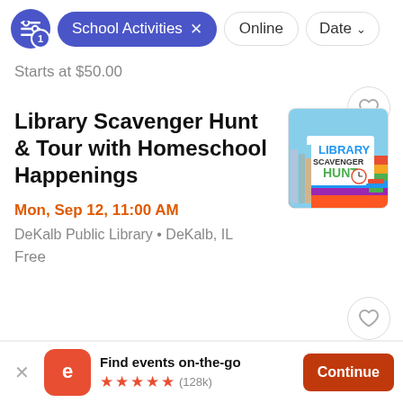School Activities × | Online | Date ▾
Starts at $50.00
Library Scavenger Hunt & Tour with Homeschool Happenings
Mon, Sep 12, 11:00 AM
DeKalb Public Library • DeKalb, IL
Free
Find events on-the-go ★★★★★ (128k)